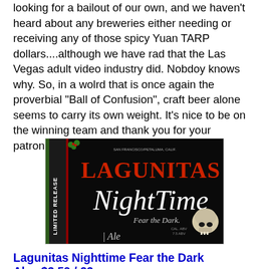looking for a bailout of our own, and we haven't heard about any breweries either needing or receiving any of those spicy Yuan TARP dollars....although we have rad that the Las Vegas adult video industry did. Nobdoy knows why. So, in a wolrd that is once again the proverbial "Ball of Confusion", craft beer alone seems to carry its own weight. It's nice to be on the winning team and thank you for your patronage and imbibiliciousness."
[Figure (photo): Lagunitas NightTime Fear the Dark Ale beer label — dark background with red and white text reading LAGUNITAS NightTime Fear the Dark. Ale. A dog skull is visible on the right side. Green holly decorates the top-left corner. A vertical red/green stripe on the left side reads LIMITED RELEASE.]
Lagunitas Nighttime Fear the Dark Ale...$3.59 / 22oz
8.5% ABV
There are two kinds. There is the DayTime kind, which is